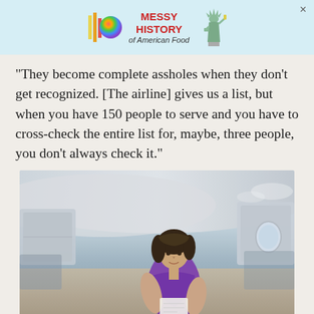[Figure (other): Advertisement banner with colorful logo bars and sphere, text reading MESSY HISTORY of American Food, with Statue of Liberty illustration, on light blue background]
"They become complete assholes when they don't get recognized. [The airline] gives us a list, but when you have 150 people to serve and you have to cross-check the entire list for, maybe, three people, you don't always check it."
[Figure (photo): Photo of a female flight attendant with dark hair, wearing a purple patterned blouse, working in the aisle of an airplane cabin. The cabin ceiling and overhead bins are visible, with a window showing sky in the background.]